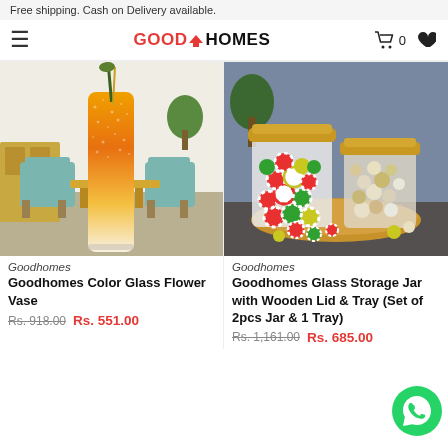Free shipping. Cash on Delivery available.
[Figure (logo): GoodHomes logo with hamburger menu, cart icon showing 0 items, and heart/wishlist icon]
[Figure (photo): Goodhomes Color Glass Flower Vase - tall cylindrical vase with orange/gold glitter gradient, containing golden and dark plant stems, set in a modern dining room scene]
[Figure (photo): Goodhomes Glass Storage Jar with Wooden Lid & Tray - two glass jars with bamboo lids filled with colorful striped candy balls, sitting on a wooden tray on a dark surface]
Goodhomes
Goodhomes Color Glass Flower Vase
Rs. 918.00 Rs. 551.00
Goodhomes
Goodhomes Glass Storage Jar with Wooden Lid & Tray (Set of 2pcs Jar & 1 Tray)
Rs. 1,161.00 Rs. 685.00